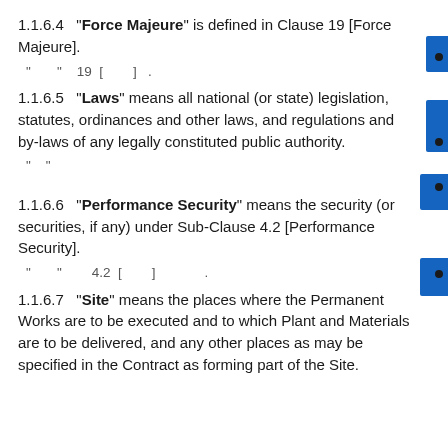1.1.6.4 "Force Majeure" is defined in Clause 19 [Force Majeure].
" " 19 [ ]
1.1.6.5 "Laws" means all national (or state) legislation, statutes, ordinances and other laws, and regulations and by-laws of any legally constituted public authority.
" "
1.1.6.6 "Performance Security" means the security (or securities, if any) under Sub-Clause 4.2 [Performance Security].
" " 4.2 [ ]
1.1.6.7 "Site" means the places where the Permanent Works are to be executed and to which Plant and Materials are to be delivered, and any other places as may be specified in the Contract as forming part of the Site.